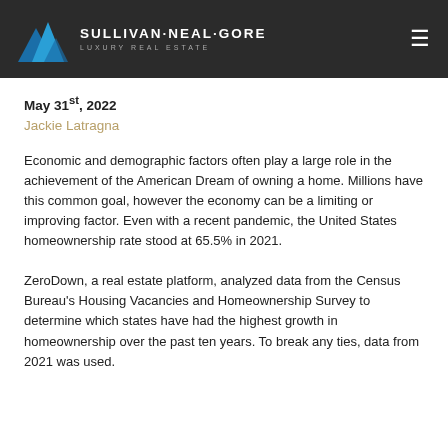Sullivan·Neal·Gore Luxury Real Estate
May 31st, 2022
Jackie Latragna
Economic and demographic factors often play a large role in the achievement of the American Dream of owning a home. Millions have this common goal, however the economy can be a limiting or improving factor. Even with a recent pandemic, the United States homeownership rate stood at 65.5% in 2021.
ZeroDown, a real estate platform, analyzed data from the Census Bureau's Housing Vacancies and Homeownership Survey to determine which states have had the highest growth in homeownership over the past ten years. To break any ties, data from 2021 was used.